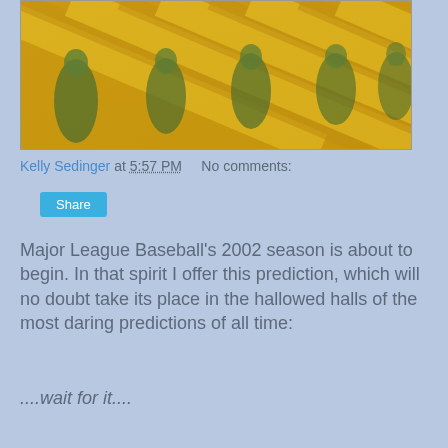[Figure (photo): A Byzantine-style golden mosaic depicting robed figures with diagonal striped pattern in gold and green/teal colors]
Kelly Sedinger at 5:57 PM    No comments:
Share
Major League Baseball's 2002 season is about to begin. In that spirit I offer this prediction, which will no doubt take its place in the hallowed halls of the most daring predictions of all time:
....wait for it....